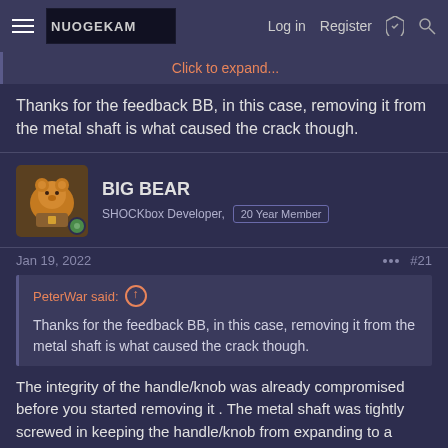Navigation bar with hamburger menu, logo, Log in, Register, and icons
Click to expand...
Thanks for the feedback BB, in this case, removing it from the metal shaft is what caused the crack though.
BIG BEAR
SHOCKbox Developer,  20 Year Member
Jan 19, 2022  #21
PeterWar said: ↑
Thanks for the feedback BB, in this case, removing it from the metal shaft is what caused the crack though.
The integrity of the handle/knob was already compromised before you started removing it . The metal shaft was tightly screwed in keeping the handle/knob from expanding to a certain point and then when you removed it,the expansion stress increased revealing the crack(s) now.
You should have just purchased a used controller and left the new